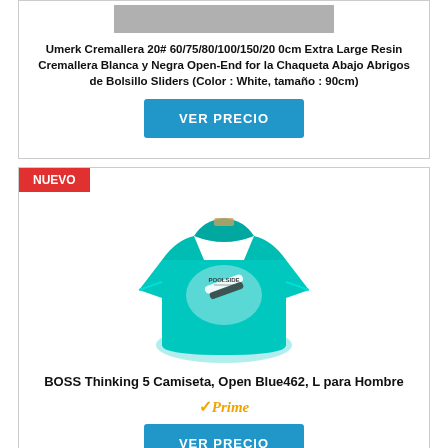[Figure (other): Gray placeholder rectangle at top of first product card]
Umerk Cremallera 20# 60/75/80/100/150/20 0cm Extra Large Resin Cremallera Blanca y Negra Open-End for la Chaqueta Abajo Abrigos de Bolsillo Sliders (Color : White, tamaño : 90cm)
VER PRECIO
NUEVO
[Figure (photo): Turquoise/cyan BOSS Thinking 5 t-shirt with Poolside graphic print, shown on white background]
BOSS Thinking 5 Camiseta, Open Blue462, L para Hombre
Prime
VER PRECIO